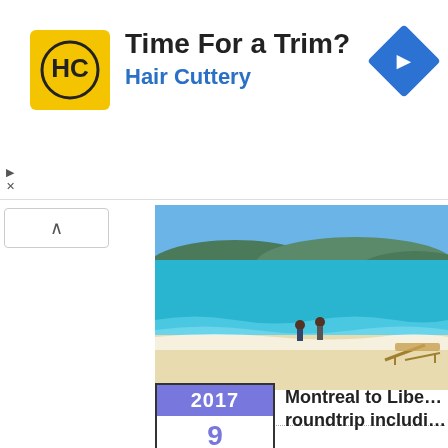[Figure (infographic): Advertisement banner for Hair Cuttery with yellow logo, text 'Time For a Trim?' and 'Hair Cuttery', and a blue navigation diamond icon]
[Figure (photo): Beach scene with turquoise water, two people wading in the ocean, white sandy beach, and a beach chair in the foreground with mountains in the background]
Read more
0 Comments
2017
9
March
Montreal to Libe… roundtrip includi…